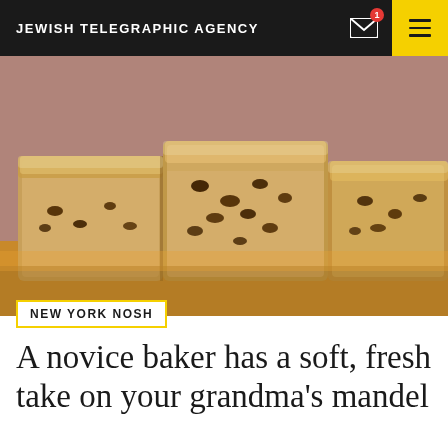JEWISH TELEGRAPHIC AGENCY
[Figure (photo): Close-up photo of sliced mandel bread (mandelbrot) with chocolate chips and cinnamon sugar coating on a wooden surface, with warm brown background]
NEW YORK NOSH
A novice baker has a soft, fresh take on your grandma's mandel